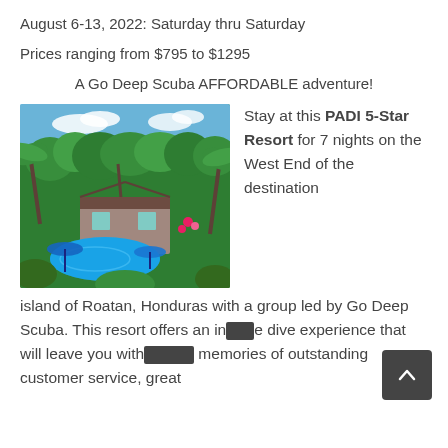August 6-13, 2022: Saturday thru Saturday
Prices ranging from $795 to $1295
A Go Deep Scuba AFFORDABLE adventure!
[Figure (photo): Aerial/garden view of a tropical resort with a pool, blue umbrellas, lush green palm trees and tropical plants, red flowers, and a thatched-roof structure.]
Stay at this PADI 5-Star Resort for 7 nights on the West End of the destination island of Roatan, Honduras with a group led by Go Deep Scuba. This resort offers an intimate dive experience that will leave you with memories of outstanding customer service, great